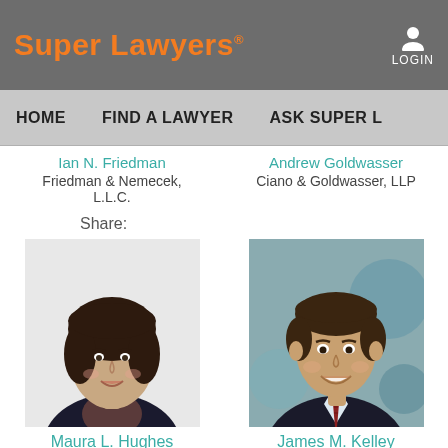[Figure (logo): Super Lawyers logo with orange text and trademark symbol]
LOGIN
HOME    FIND A LAWYER    ASK SUPER L...
Ian N. Friedman
Friedman & Nemecek, L.L.C.
Andrew Goldwasser
Ciano & Goldwasser, LLP
Share:
[Figure (photo): Professional headshot of Maura L. Hughes, a woman with dark brown hair wearing a dark blazer, smiling]
Maura L. Hughes
Calfee, Halter & Griswold
[Figure (photo): Professional headshot of James M. Kelley, a man in a dark suit and patterned tie, smiling, with a blue/green blurred background]
James M. Kelley
Elk & Elk Co., Ltd.